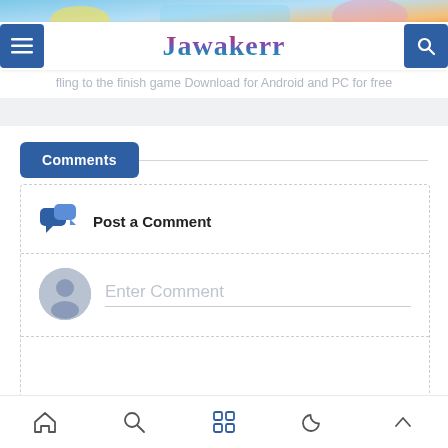[Figure (screenshot): Top banner image with colorful game artwork]
Jawakerr
fling to the finish game Download for Android and PC for free
Comments
Post a Comment
Enter Comment
[Figure (other): Bottom navigation bar with home, search, grid, moon, and up-arrow icons]